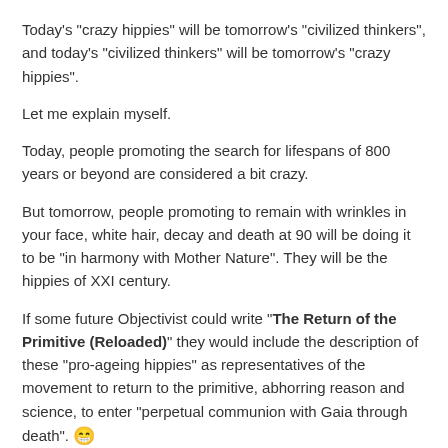Today's "crazy hippies" will be tomorrow's "civilized thinkers", and today's "civilized thinkers" will be tomorrow's "crazy hippies".
Let me explain myself.
Today, people promoting the search for lifespans of 800 years or beyond are considered a bit crazy.
But tomorrow, people promoting to remain with wrinkles in your face, white hair, decay and death at 90 will be doing it to be "in harmony with Mother Nature". They will be the hippies of XXI century.
If some future Objectivist could write "The Return of the Primitive (Reloaded)" they would include the description of these "pro-ageing hippies" as representatives of the movement to return to the primitive, abhorring reason and science, to enter "perpetual communion with Gaia through death". 😁
Edited January 11, 2011 by Hotu Matua